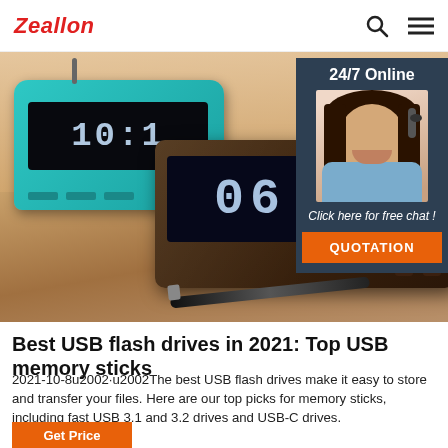Zeallon
[Figure (photo): Hero image showing digital alarm clocks/speaker devices on a wooden table, with a teal/cyan clock on the left and a dark brown mirrored clock on the right showing '06:04', along with a pen. Overlaid with a 24/7 Online chat widget featuring a customer service agent photo and a QUOTATION button.]
Best USB flash drives in 2021: Top USB memory sticks
2021-10-8u2002·u2002The best USB flash drives make it easy to store and transfer your files. Here are our top picks for memory sticks, including fast USB 3.1 and 3.2 drives and USB-C drives.
Get Price